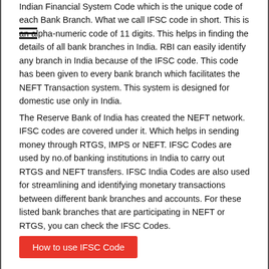Indian Financial System Code which is the unique code of each Bank Branch. What we call IFSC code in short. This is an alpha-numeric code of 11 digits. This helps in finding the details of all bank branches in India. RBI can easily identify any branch in India because of the IFSC code. This code has been given to every bank branch which facilitates the NEFT Transaction system. This system is designed for domestic use only in India.
The Reserve Bank of India has created the NEFT network. IFSC codes are covered under it. Which helps in sending money through RTGS, IMPS or NEFT. IFSC Codes are used by no.of banking institutions in India to carry out RTGS and NEFT transfers. IFSC India Codes are also used for streamlining and identifying monetary transactions between different bank branches and accounts. For these listed bank branches that are participating in NEFT or RTGS, you can check the IFSC Codes.
How to use IFSC Code